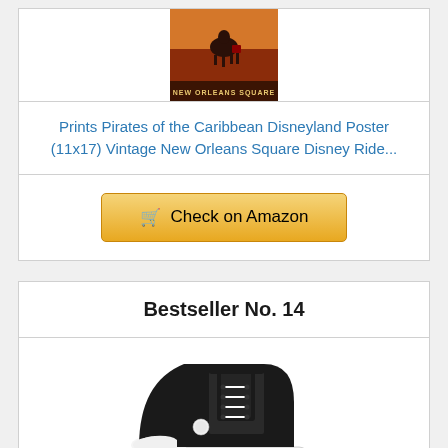[Figure (photo): New Orleans Square Pirates of the Caribbean vintage poster thumbnail]
Prints Pirates of the Caribbean Disneyland Poster (11x17) Vintage New Orleans Square Disney Ride...
Check on Amazon
Bestseller No. 14
[Figure (photo): Black and white high-top Converse sneaker with white lugged sole]